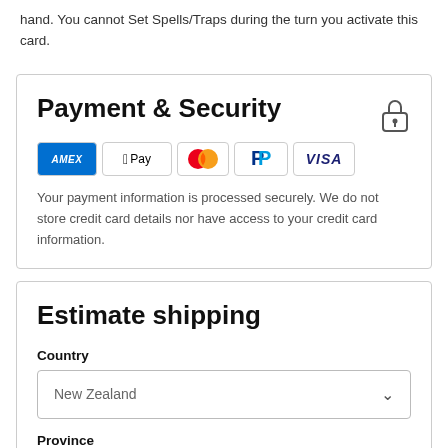hand. You cannot Set Spells/Traps during the turn you activate this card.
Payment & Security
[Figure (logo): Payment method logos: American Express, Apple Pay, Mastercard, PayPal, Visa]
Your payment information is processed securely. We do not store credit card details nor have access to your credit card information.
Estimate shipping
Country
New Zealand
Province